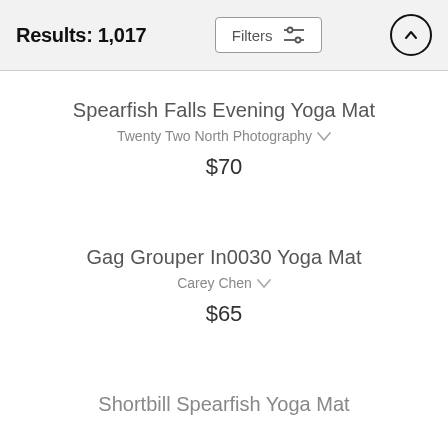Results: 1,017
Spearfish Falls Evening Yoga Mat
Twenty Two North Photography
$70
Gag Grouper In0030 Yoga Mat
Carey Chen
$65
Shortbill Spearfish Yoga Mat